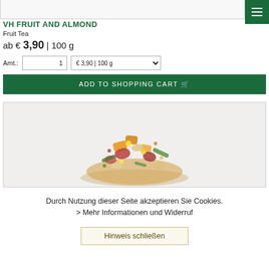[Figure (screenshot): Top portion of product image (partially visible at top of page)]
VH FRUIT AND ALMOND
Fruit Tea
ab € 3,90 | 100 g
Amt.: 1  € 3,90 | 100 g
ADD TO SHOPPING CART
[Figure (photo): Pile of loose-leaf fruit and almond tea blend with dried fruits, flower petals, and herb pieces]
Durch Nutzung dieser Seite akzeptieren Sie Cookies.
> Mehr Informationen und Widerruf
Hinweis schließen